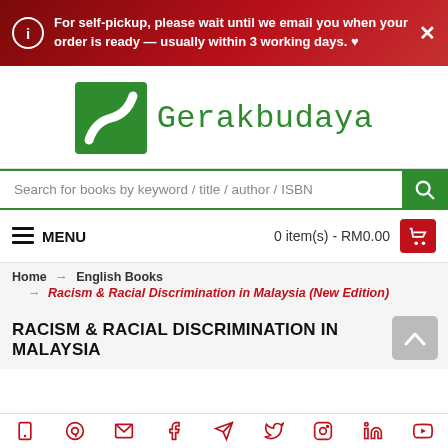For self-pickup, please wait until we email you when your order is ready — usually within 3 working days. ♥
[Figure (logo): Gerakbudaya logo: green square with white road/arrow motif, followed by text 'Gerakbudaya' in green monospace font]
Search for books by keyword / title / author / ISBN
≡ MENU    0 item(s) - RM0.00
Home → English Books → Racism & Racial Discrimination in Malaysia (New Edition)
RACISM & RACIAL DISCRIMINATION IN MALAYSIA
Social media icon bar: phone, whatsapp, email, facebook, telegram, twitter, instagram, linkedin, youtube